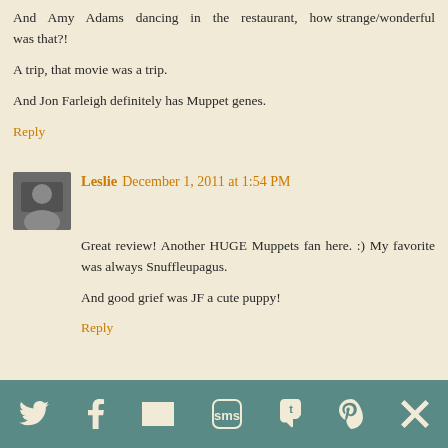And Amy Adams dancing in the restaurant, how strange/wonderful was that?!
A trip, that movie was a trip.
And Jon Farleigh definitely has Muppet genes.
Reply
Leslie  December 1, 2011 at 1:54 PM
Great review! Another HUGE Muppets fan here. :) My favorite was always Snuffleupagus.
And good grief was JF a cute puppy!
Reply
[Figure (other): Footer bar with social sharing icons: Twitter bird, Facebook f, envelope/email, SMS speech bubble, Tumblr t, Pinterest p, Flipboard f]